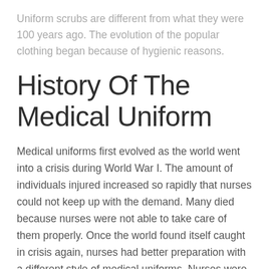Uniform scrubs are different from what they were 100 years ago. The evolution of the popular clothing began because of hygienic reasons.
History Of The Medical Uniform
Medical uniforms first evolved as the world went into a crisis during World War I. The amount of individuals injured increased so rapidly that nurses could not keep up with the demand. Many died because nurses were not able to take care of them properly. Once the world found itself caught in crisis again, nurses had better preparation with a different style of medical uniforms. Nurses were credited with low post-injury mortality rate during the war. The less bulky uniforms were able to help the nurses save more